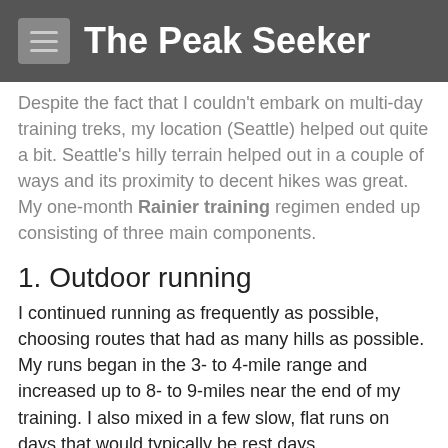The Peak Seeker
Despite the fact that I couldn't embark on multi-day training treks, my location (Seattle) helped out quite a bit. Seattle's hilly terrain helped out in a couple of ways and its proximity to decent hikes was great. My one-month Rainier training regimen ended up consisting of three main components.
1. Outdoor running
I continued running as frequently as possible, choosing routes that had as many hills as possible. My runs began in the 3- to 4-mile range and increased up to 8- to 9-miles near the end of my training. I also mixed in a few slow, flat runs on days that would typically be rest days.
2. Dravus street
I needed something very steep, very close to home that I